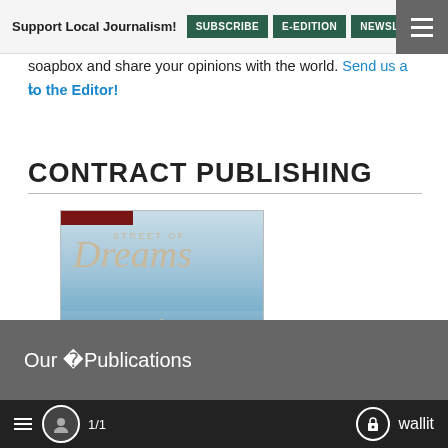Support Local Journalism! SUBSCRIBE E-EDITION NEWSLET
soapbox and share your opinions with the world. Send us a Letter to the Editor!
CONTRACT PUBLISHING
[Figure (photo): Street of Dreams Magazine 2022 cover showing a house with blue sky background, red banner, and italic Dreams title in tan/gold serif font. Caption: Street of Dreams Magazine 2022, Pamplin Contract Publishing]
Street of Dreams Magazine 2022
Pamplin Contract Publishing
Our �Publications
≡  👤  1/1  🔒 wallit